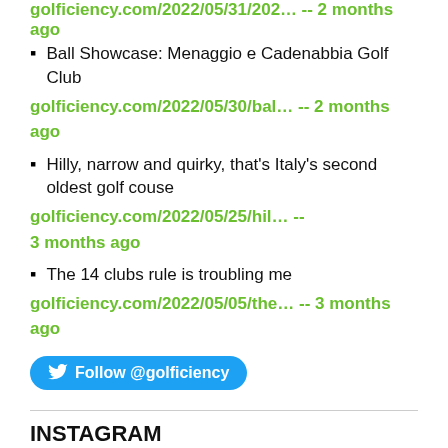golficiency.com/2022/05/31/202… -- 2 months ago
Ball Showcase: Menaggio e Cadenabbia Golf Club golficiency.com/2022/05/30/bal… -- 2 months ago
Hilly, narrow and quirky, that's Italy's second oldest golf couse golficiency.com/2022/05/25/hil… -- 3 months ago
The 14 clubs rule is troubling me golficiency.com/2022/05/05/the… -- 3 months ago
Follow @golficiency
INSTAGRAM
[Figure (photo): Orange Wilson golf ball resting on green grass, showing the Wilson Staff (WS) logo]